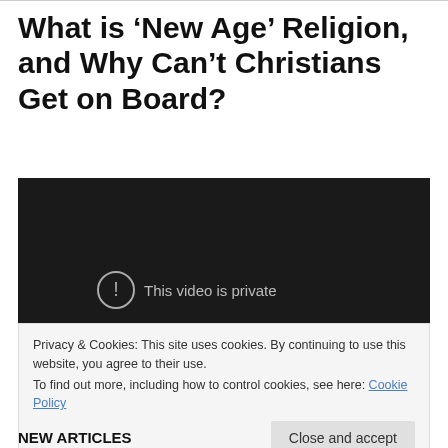What is ‘New Age’ Religion, and Why Can’t Christians Get on Board?
[Figure (screenshot): Dark video player with a private video notice showing a warning circle icon and the text 'This video is private']
Privacy & Cookies: This site uses cookies. By continuing to use this website, you agree to their use.
To find out more, including how to control cookies, see here: Cookie Policy
Close and accept
NEW ARTICLES